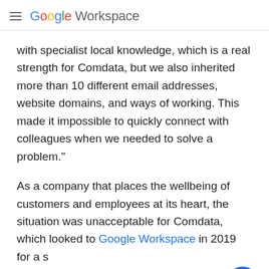Google Workspace
with specialist local knowledge, which is a real strength for Comdata, but we also inherited more than 10 different email addresses, website domains, and ways of working. This made it impossible to quickly connect with colleagues when we needed to solve a problem."
As a company that places the wellbeing of customers and employees at its heart, the situation was unacceptable for Comdata, which looked to Google Workspace in 2019 for a s… "After benchmarking various options, Google